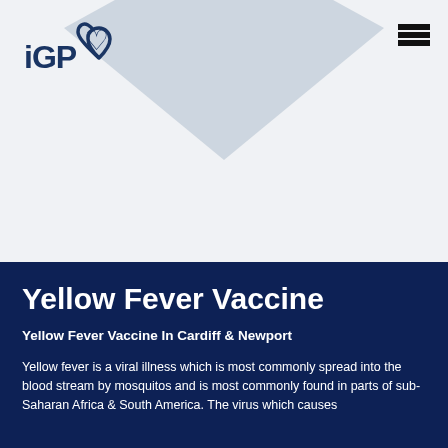[Figure (logo): iGP logo with heart symbol in dark navy blue, top left corner]
[Figure (illustration): Light blue/grey diamond geometric decorative shape in the header background area]
Yellow Fever Vaccine
Yellow Fever Vaccine In Cardiff & Newport
Yellow fever is a viral illness which is most commonly spread into the blood stream by mosquitos and is most commonly found in parts of sub-Saharan Africa & South America. The virus which causes